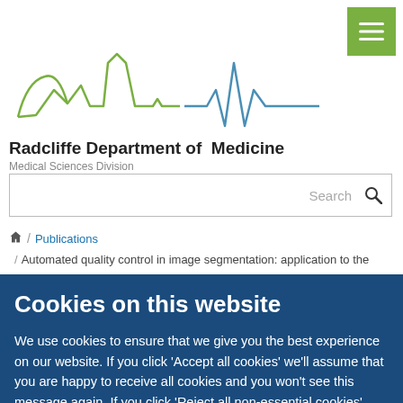[Figure (logo): Radcliffe Department of Medicine logo with green and blue skyline/heartbeat graphic]
Radcliffe Department of Medicine
Medical Sciences Division
Search
/ Publications / Automated quality control in image segmentation: application to the
Cookies on this website
We use cookies to ensure that we give you the best experience on our website. If you click 'Accept all cookies' we'll assume that you are happy to receive all cookies and you won't see this message again. If you click 'Reject all non-essential cookies' only necessary cookies providing core functionality such as security, network management, and accessibility will be enabled. Click 'Find out more' for